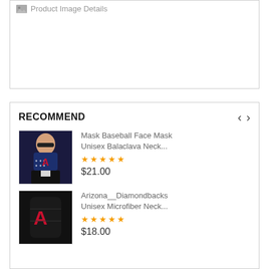Product Image Details
RECOMMEND
Mask Baseball Face Mask Unisex Balaclava Neck...
$21.00
Arizona__Diamondbacks Unisex Microfiber Neck...
$18.00